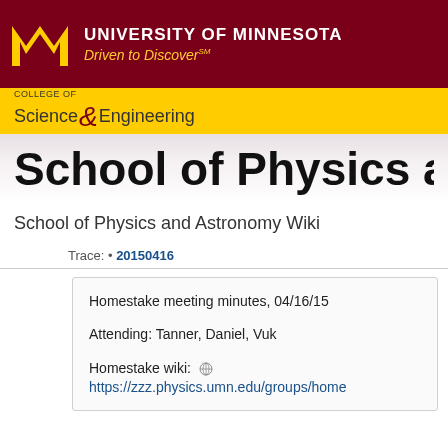[Figure (logo): University of Minnesota logo with gold M on dark red background, text UNIVERSITY OF MINNESOTA Driven to Discover]
[Figure (logo): College of Science & Engineering logo on gold bar]
School of Physics and As
School of Physics and Astronomy Wiki
Trace: • 20150416
Homestake meeting minutes, 04/16/15
Attending: Tanner, Daniel, Vuk
Homestake wiki: https://zzz.physics.umn.edu/groups/home